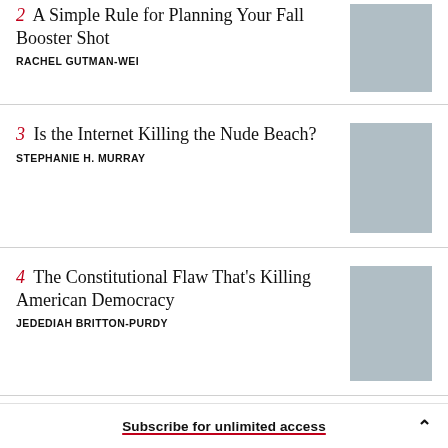2 A Simple Rule for Planning Your Fall Booster Shot — Rachel Gutman-Wei
3 Is the Internet Killing the Nude Beach? — Stephanie H. Murray
4 The Constitutional Flaw That’s Killing American Democracy — Jedediah Britton-Purdy
5 This Is How the Hollywood Comeback
Subscribe for unlimited access